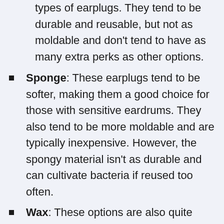types of earplugs. They tend to be durable and reusable, but not as moldable and don't tend to have as many extra perks as other options.
Sponge: These earplugs tend to be softer, making them a good choice for those with sensitive eardrums. They also tend to be more moldable and are typically inexpensive. However, the spongy material isn't as durable and can cultivate bacteria if reused too often.
Wax: These options are also quite moldable. They are also waterproof, which (hopefully!) won't matter for flying, but if you're looking for earplugs that can be used in the pool as well as on the plane, these might be your choice.